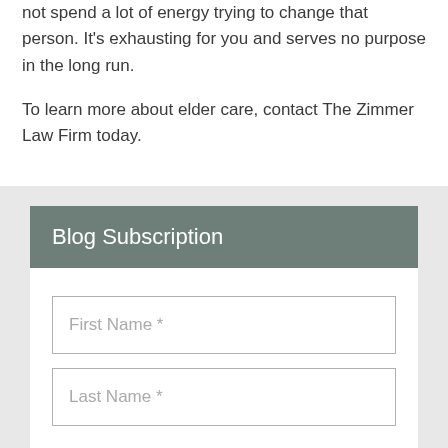not spend a lot of energy trying to change that person. It's exhausting for you and serves no purpose in the long run.
To learn more about elder care, contact The Zimmer Law Firm today.
Blog Subscription
First Name *
Last Name *